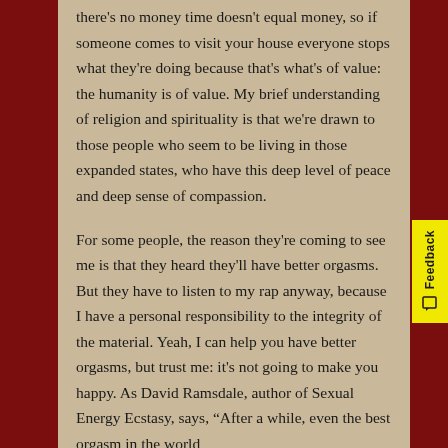there's no money time doesn't equal money, so if someone comes to visit your house everyone stops what they're doing because that's what's of value: the humanity is of value. My brief understanding of religion and spirituality is that we're drawn to those people who seem to be living in those expanded states, who have this deep level of peace and deep sense of compassion.
For some people, the reason they're coming to see me is that they heard they'll have better orgasms. But they have to listen to my rap anyway, because I have a personal responsibility to the integrity of the material. Yeah, I can help you have better orgasms, but trust me: it's not going to make you happy. As David Ramsdale, author of Sexual Energy Ecstasy, says, “After a while, even the best orgasm in the world